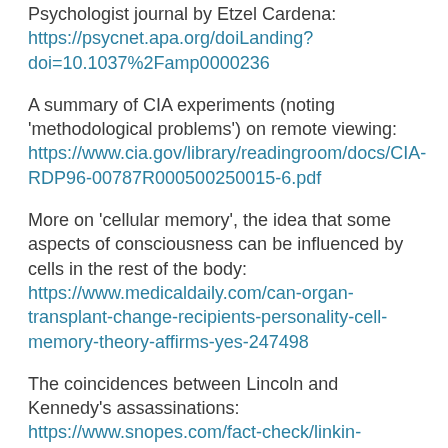Psychologist journal by Etzel Cardena: https://psycnet.apa.org/doiLanding?doi=10.1037%2Famp0000236
A summary of CIA experiments (noting 'methodological problems') on remote viewing: https://www.cia.gov/library/readingroom/docs/CIA-RDP96-00787R000500250015-6.pdf
More on 'cellular memory', the idea that some aspects of consciousness can be influenced by cells in the rest of the body: https://www.medicaldaily.com/can-organ-transplant-change-recipients-personality-cell-memory-theory-affirms-yes-247498
The coincidences between Lincoln and Kennedy's assassinations: https://www.snopes.com/fact-check/linkin-